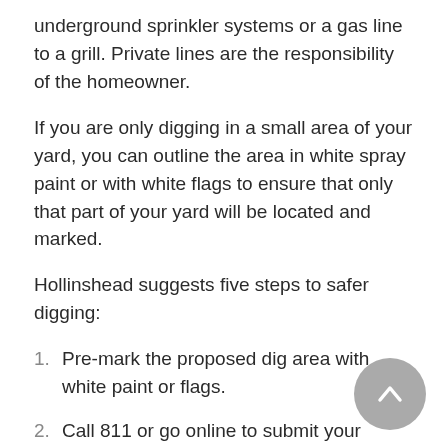underground sprinkler systems or a gas line to a grill. Private lines are the responsibility of the homeowner.
If you are only digging in a small area of your yard, you can outline the area in white spray paint or with white flags to ensure that only that part of your yard will be located and marked.
Hollinshead suggests five steps to safer digging:
Pre-mark the proposed dig area with white paint or flags.
Call 811 or go online to submit your locate request before you dig. There is no charge for the service.
Wait the required amount of time (typically